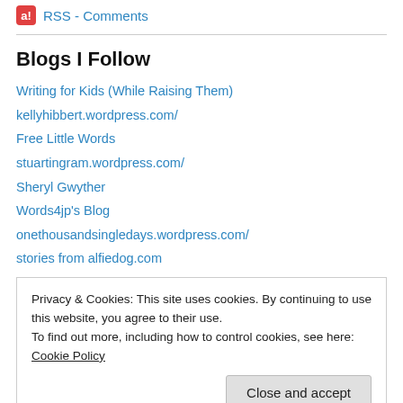RSS - Comments
Blogs I Follow
Writing for Kids (While Raising Them)
kellyhibbert.wordpress.com/
Free Little Words
stuartingram.wordpress.com/
Sheryl Gwyther
Words4jp's Blog
onethousandsingledays.wordpress.com/
stories from alfiedog.com
Privacy & Cookies: This site uses cookies. By continuing to use this website, you agree to their use. To find out more, including how to control cookies, see here: Cookie Policy
Close and accept
The Do-Gooder Mama